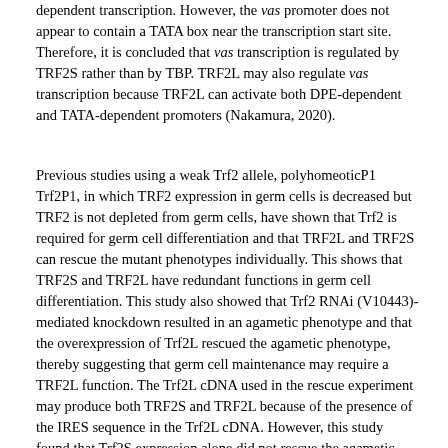dependent transcription. However, the vas promoter does not appear to contain a TATA box near the transcription start site. Therefore, it is concluded that vas transcription is regulated by TRF2S rather than by TBP. TRF2L may also regulate vas transcription because TRF2L can activate both DPE-dependent and TATA-dependent promoters (Nakamura, 2020).
Previous studies using a weak Trf2 allele, polyhomeoticP1 Trf2P1, in which TRF2 expression in germ cells is decreased but TRF2 is not depleted from germ cells, have shown that Trf2 is required for germ cell differentiation and that TRF2L and TRF2S can rescue the mutant phenotypes individually. This shows that TRF2S and TRF2L have redundant functions in germ cell differentiation. This study also showed that Trf2 RNAi (V10443)-mediated knockdown resulted in an agametic phenotype and that the overexpression of Trf2L rescued the agametic phenotype, thereby suggesting that germ cell maintenance may require a TRF2L function. The Trf2L cDNA used in the rescue experiment may produce both TRF2S and TRF2L because of the presence of the IRES sequence in the Trf2L cDNA. However, this study found that Trf2S expression alone did not rescue the agametic phenotype induced by Trf2 RNAi, thereby confirming that TRF2L is required for germ cell maintenance (Nakamura, 2020).